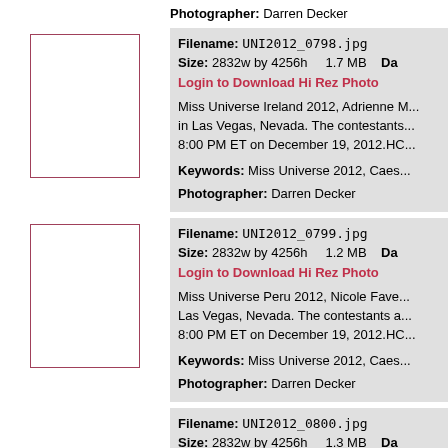Photographer: Darren Decker
Filename: UNI2012_0798.jpg
Size: 2832w by 4256h   1.7 MB   Da
Login to Download Hi Rez Photo
Miss Universe Ireland 2012, Adrienne M... in Las Vegas, Nevada. The contestants... 8:00 PM ET on December 19, 2012.HC...
Keywords: Miss Universe 2012, Caes...
Photographer: Darren Decker
[Figure (photo): Thumbnail placeholder for UNI2012_0798.jpg]
Filename: UNI2012_0799.jpg
Size: 2832w by 4256h   1.2 MB   Da
Login to Download Hi Rez Photo
Miss Universe Peru 2012, Nicole Fave... Las Vegas, Nevada. The contestants a... 8:00 PM ET on December 19, 2012.HC...
Keywords: Miss Universe 2012, Caes...
Photographer: Darren Decker
[Figure (photo): Thumbnail placeholder for UNI2012_0799.jpg]
Filename: UNI2012_0800.jpg
Size: 2832w by 4256h   1.3 MB   Da
Login to Download Hi Rez Photo